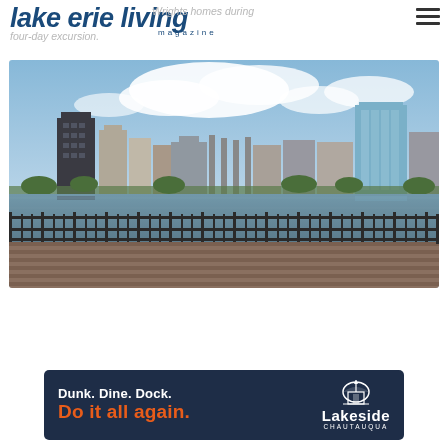lake erie living magazine
Wrights homes during four-day excursion.
[Figure (photo): City skyline of Toledo, Ohio viewed from a riverfront promenade with brick pavers and iron fence in the foreground, reflecting in the water, blue sky with clouds above.]
[Figure (other): Advertisement banner for Lakeside Chautauqua: 'Dunk. Dine. Dock. Do it all again.' with Lakeside Chautauqua logo and dome icon on dark navy background.]